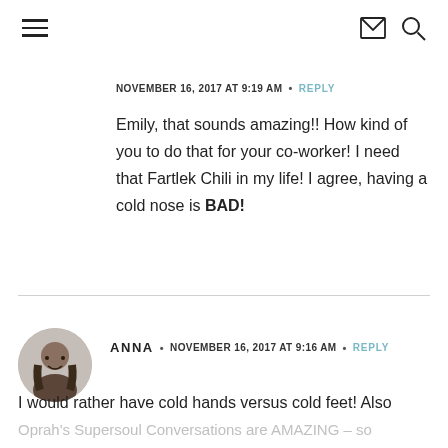navigation header with hamburger menu, mail icon, and search icon
NOVEMBER 16, 2017 AT 9:19 AM  •  REPLY
Emily, that sounds amazing!! How kind of you to do that for your co-worker! I need that Fartlek Chili in my life! I agree, having a cold nose is BAD!
ANNA  •  NOVEMBER 16, 2017 AT 9:16 AM  •  REPLY
I would rather have cold hands versus cold feet! Also
Oprah's Supersoul Conversations are AMAZING – so